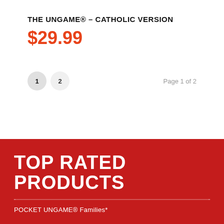THE UNGAME® – CATHOLIC VERSION
$29.99
1  2    Page 1 of 2
TOP RATED PRODUCTS
POCKET UNGAME® Families*